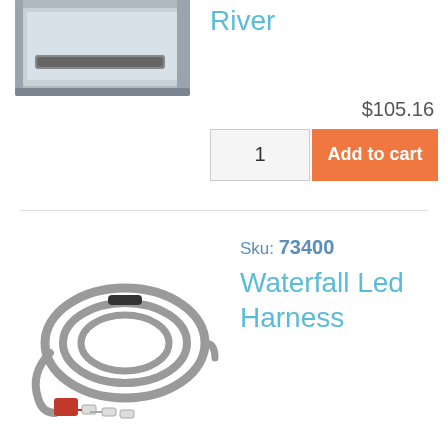[Figure (photo): Top portion of a rectangular pool/water feature inlet device, silver/grey metal, partially visible at top-left]
River
$105.16
1
Add to cart
[Figure (photo): Waterfall LED Harness product: coiled grey cable with a red rectangular connector and white wire connectors]
Sku: 73400
Waterfall Led Harness